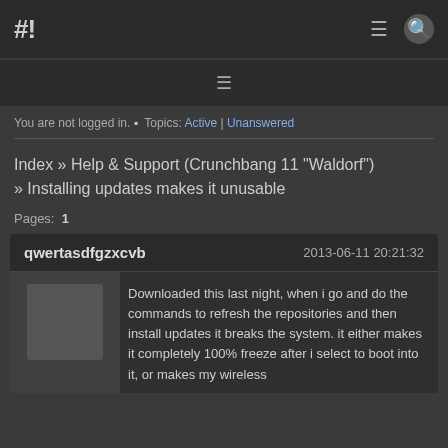#!
≡
You are not logged in. ▪ Topics: Active | Unanswered
Index » Help & Support (Crunchbang 11 "Waldorf") » Installing updates makes it unusable
Pages: 1
qwertasdfgzxcvb   2013-06-11 20:21:32
Downloaded this last night, when i go and do the commands to refresh the repositories and then install updates it breaks the system. it either makes it completely 100% freeze after i select to boot into it, or makes my wireless